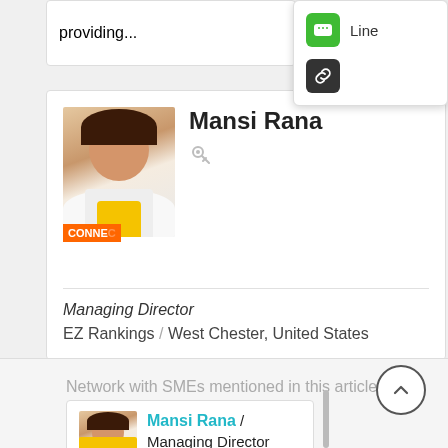providing...
[Figure (screenshot): Share popup menu with Line (green icon) and link (dark icon) options]
[Figure (photo): Profile photo of Mansi Rana with CONNECT badge]
Mansi Rana
Managing Director
EZ Rankings / West Chester, United States
Network with SMEs mentioned in this article
Mansi Rana / Managing Director